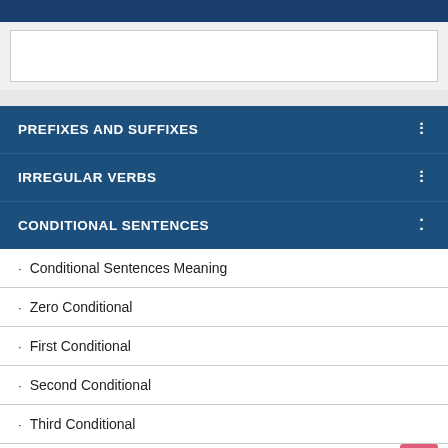PREFIXES AND SUFFIXES
IRREGULAR VERBS
CONDITIONAL SENTENCES
Conditional Sentences Meaning
Zero Conditional
First Conditional
Second Conditional
Third Conditional
Mixed Conditional
Using Wish & If Only